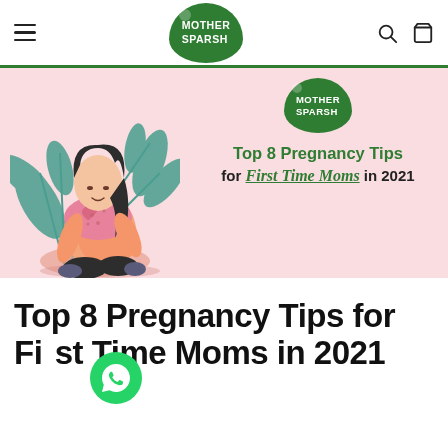Mother Sparsh — navigation bar with hamburger menu, logo, search and cart icons
[Figure (illustration): Hero banner with pink background showing a pregnant woman sitting cross-legged holding her belly, surrounded by teal tropical leaves. Mother Sparsh green logo badge in upper center. Text: 'Top 8 Pregnancy Tips for First Time Moms in 2021']
Top 8 Pregnancy Tips for First Time Moms in 2021